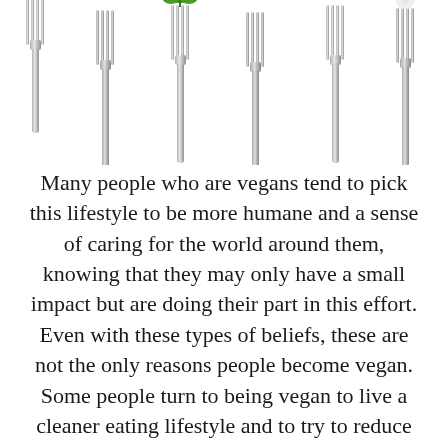[Figure (photo): Row of six silver forks arranged side by side against a white background, some with food items on them (a blueberry, a green salad leaf/herb, and a small white flower/food item on the last fork)]
Many people who are vegans tend to pick this lifestyle to be more humane and a sense of caring for the world around them, knowing that they may only have a small impact but are doing their part in this effort. Even with these types of beliefs, these are not the only reasons people become vegan. Some people turn to being vegan to live a cleaner eating lifestyle and to try to reduce certain allergies, or just to detox their body from the way food is handled these days.